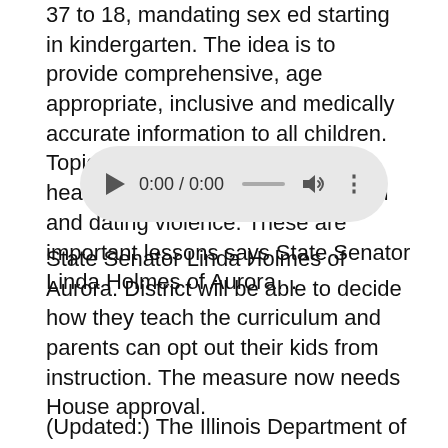37 to 18, mandating sex ed starting in kindergarten. The idea is to provide comprehensive, age appropriate, inclusive and medically accurate information to all children. Topics would include consent, healthy relationships, sexual health and dating violence. These are important lessons says State Senator Linda Holmes of Aurora…
[Figure (other): Audio player widget showing 0:00 / 0:00 with play button, progress bar, volume and options icons]
State Senator Linda Holmes of Aurora. District will be able to decide how they teach the curriculum and parents can opt out their kids from instruction. The measure now needs House approval.
(Updated:) The Illinois Department of Public Health